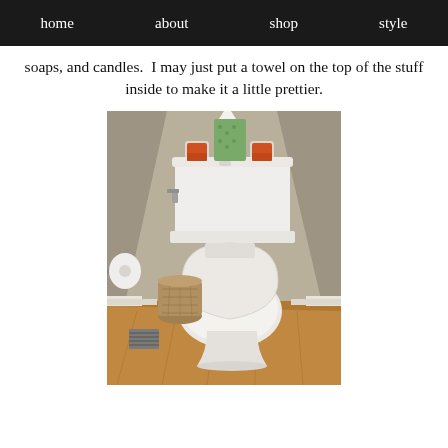home   about   shop   style
soaps, and candles.  I may just put a towel on the top of the stuff inside to make it a little prettier.
[Figure (photo): A white toilet in a small bathroom with wood floors, a wicker basket beside it, a toilet paper roll holder on the left wall, and candles plus a tissue box on the toilet tank.]